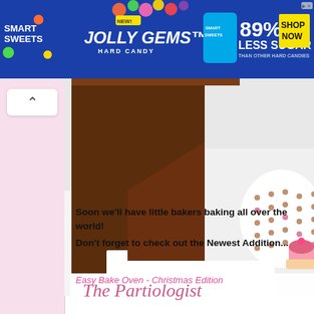[Figure (screenshot): Smart Sweets advertisement banner for Jolly Gems Hard Candy, 89% Less Sugar than other hard candies, with Shop Now button]
[Figure (photo): Blog header image showing a crafting or baking scene with brown fondant or chocolate shapes on white background, and a polka-dot cupcake graphic on the right]
The Partiologist
Soon we'll have little bakers baking all over the world!
Don't forget to check out the Newest Addition...
Easy Bake Oven - Christmas Edition